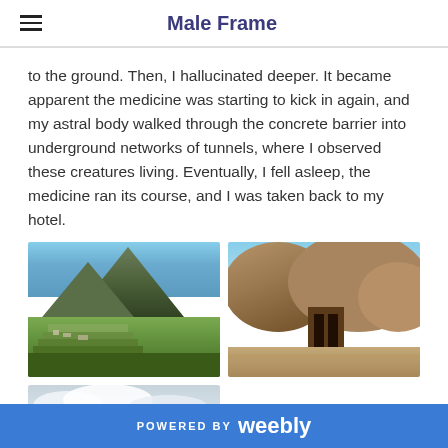Male Frame
to the ground. Then, I hallucinated deeper. It became apparent the medicine was starting to kick in again, and my astral body walked through the concrete barrier into underground networks of tunnels, where I observed these creatures living. Eventually, I fell asleep, the medicine ran its course, and I was taken back to my hotel.
[Figure (photo): Aerial view of Machu Picchu with mountain peak in background, green terraces visible]
[Figure (photo): Ancient stone megalithic structure with large carved rock doorway or gate, sandy/rocky landscape]
[Figure (photo): Partial view of cloudy mountainous landscape, bottom portion cut off]
POWERED BY weebly